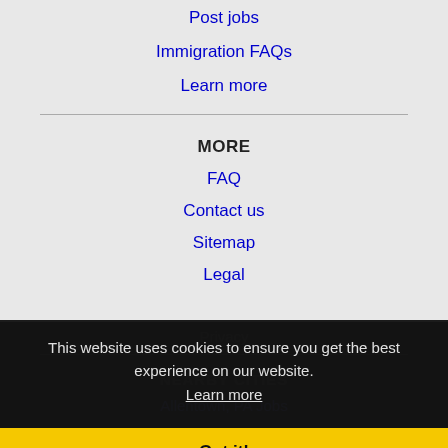Post jobs
Immigration FAQs
Learn more
MORE
FAQ
Contact us
Sitemap
Legal
Privacy
NEARBY CITIES
Allentown, PA Jobs
Baltimore, MD Jobs
Bayonne, NJ Jobs
Bel Air North, MD Jobs
Bel Air South, MD Jobs
This website uses cookies to ensure you get the best experience on our website. Learn more
Got it!